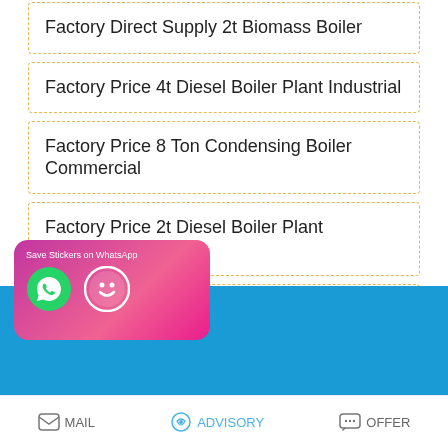Factory Direct Supply 2t Biomass Boiler
Factory Price 4t Diesel Boiler Plant Industrial
Factory Price 8 Ton Condensing Boiler Commercial
Factory Price 2t Diesel Boiler Plant Turkmenistan
Factory Price 20t Oil Powered Condensing Boiler
Factory Direct Supply 6t Biomass Boiler Machine
[Figure (screenshot): Scroll-to-top button with upward arrow icon]
[Figure (screenshot): Blue banner background with WhatsApp sticker save card (pink/magenta gradient) showing WhatsApp and emoji icons, and a bottom navigation bar with Mail, Advisory, Offer buttons]